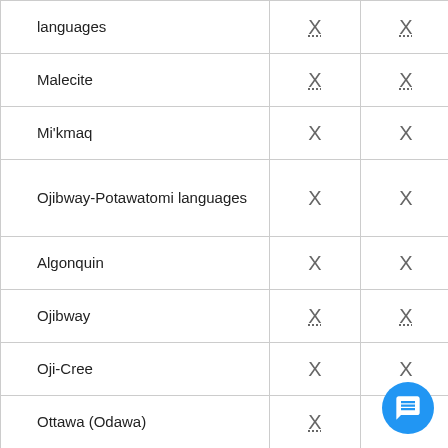| Language | Col1 | Col2 |
| --- | --- | --- |
| [...] languages | X | X |
| Malecite | X | X |
| Mi'kmaq | X | X |
| Ojibway-Potawatomi languages | X | X |
| Algonquin | X | X |
| Ojibway | X | X |
| Oji-Cree | X | X |
| Ottawa (Odawa) | X | X |
| Algonquian languages, n.i.e. | X | X |
| Athabaskan languages | X | X |
| Northern Athabaskan languages | X | X |